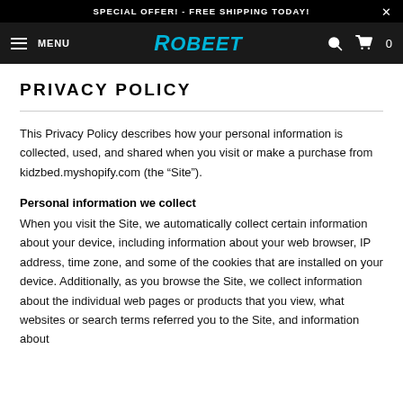SPECIAL OFFER! - FREE SHIPPING TODAY!
MENU | ROBEET | 0
PRIVACY POLICY
This Privacy Policy describes how your personal information is collected, used, and shared when you visit or make a purchase from kidzbed.myshopify.com (the “Site”).
Personal information we collect
When you visit the Site, we automatically collect certain information about your device, including information about your web browser, IP address, time zone, and some of the cookies that are installed on your device. Additionally, as you browse the Site, we collect information about the individual web pages or products that you view, what websites or search terms referred you to the Site, and information about